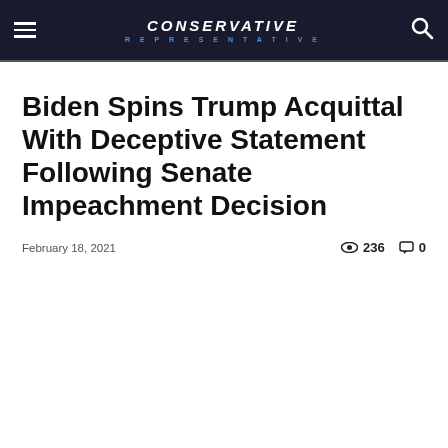CONSERVATIVE REPRESENTATIVE
Biden Spins Trump Acquittal With Deceptive Statement Following Senate Impeachment Decision
February 18, 2021  236  0